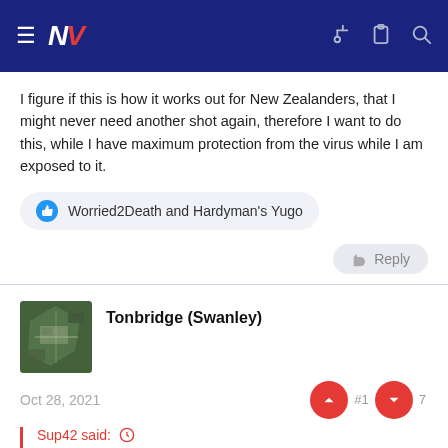[Figure (screenshot): Navigation bar with hamburger menu, NZ logo with red V, and icons for key, clipboard, and search on dark blue background]
I figure if this is how it works out for New Zealanders, that I might never need another shot again, therefore I want to do this, while I have maximum protection from the virus while I am exposed to it.
Worried2Death and Hardyman's Yugo
Reply
Tonbridge (Swanley)
Oct 28, 2021
Sup42 said:
Have you had Covid bro? I know you had a lot of it around you?